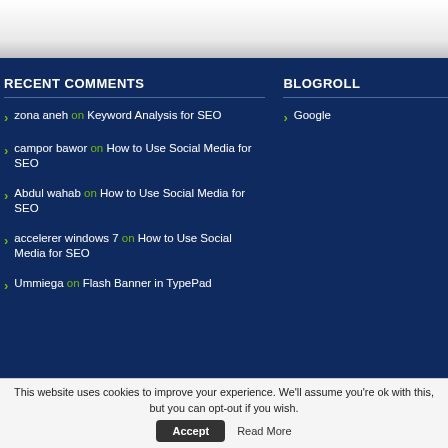RECENT COMMENTS
zona aneh on Keyword Analysis for SEO
campor bawor on How to Use Social Media for SEO
Abdul wahab on How to Use Social Media for SEO
accelerer windows 7 on How to Use Social Media for SEO
Ummiega on Flash Banner in TypePad
BLOGROLL
Google
This website uses cookies to improve your experience. We'll assume you're ok with this, but you can opt-out if you wish.
Accept
Read More